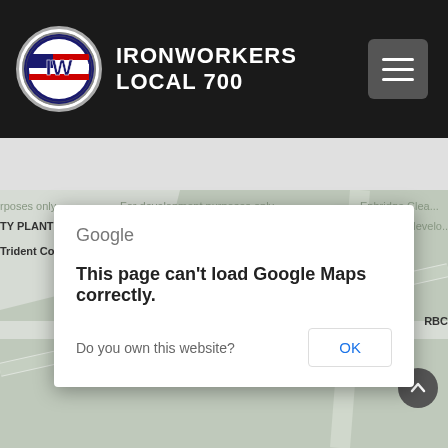[Figure (screenshot): Website header for Ironworkers Local 700 with dark background, circular union logo on left, and hamburger menu icon on right]
[Figure (screenshot): Google Maps error dialog overlaid on a map background reading: 'This page can't load Google Maps correctly. Do you own this website? OK']
[Figure (map): Google Maps view showing location of International Association of Bridge & Iron, Trident Compressed Air, Premier Truck Group of Windsor, with a red map pin marker. Watermark text: 'For development purposes only']